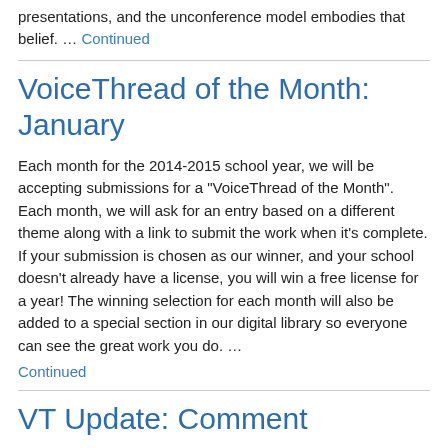presentations, and the unconference model embodies that belief. … Continued
VoiceThread of the Month: January
Each month for the 2014-2015 school year, we will be accepting submissions for a “VoiceThread of the Month”. Each month, we will ask for an entry based on a different theme along with a link to submit the work when it’s complete. If your submission is chosen as our winner, and your school doesn’t already have a license, you will win a free license for a year! The winning selection for each month will also be added to a special section in our digital library so everyone can see the great work you do. … Continued
VT Update: Comment